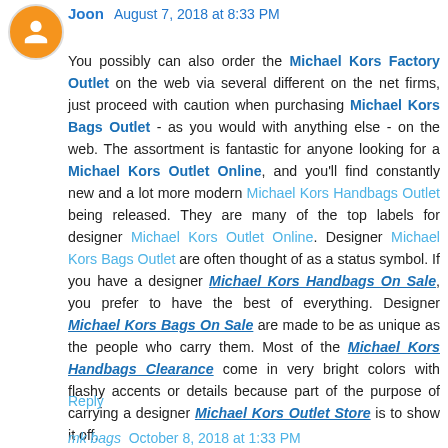Joon  August 7, 2018 at 8:33 PM
You possibly can also order the Michael Kors Factory Outlet on the web via several different on the net firms, just proceed with caution when purchasing Michael Kors Bags Outlet - as you would with anything else - on the web. The assortment is fantastic for anyone looking for a Michael Kors Outlet Online, and you'll find constantly new and a lot more modern Michael Kors Handbags Outlet being released. They are many of the top labels for designer Michael Kors Outlet Online. Designer Michael Kors Bags Outlet are often thought of as a status symbol. If you have a designer Michael Kors Handbags On Sale, you prefer to have the best of everything. Designer Michael Kors Bags On Sale are made to be as unique as the people who carry them. Most of the Michael Kors Handbags Clearance come in very bright colors with flashy accents or details because part of the purpose of carrying a designer Michael Kors Outlet Store is to show it off.
Reply
mk bags  October 8, 2018 at 1:33 PM